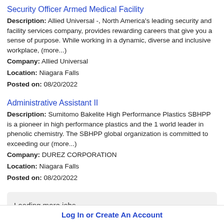Security Officer Armed Medical Facility
Description: Allied Universal -, North America's leading security and facility services company, provides rewarding careers that give you a sense of purpose. While working in a dynamic, diverse and inclusive workplace, (more...)
Company: Allied Universal
Location: Niagara Falls
Posted on: 08/20/2022
Administrative Assistant II
Description: Sumitomo Bakelite High Performance Plastics SBHPP is a pioneer in high performance plastics and the 1 world leader in phenolic chemistry. The SBHPP global organization is committed to exceeding our (more...)
Company: DUREZ CORPORATION
Location: Niagara Falls
Posted on: 08/20/2022
Loading more jobs...
Log In or Create An Account